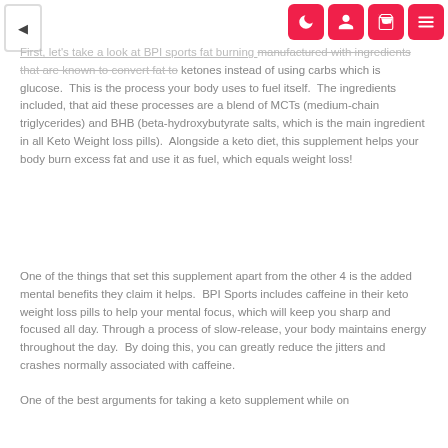Navigation header with toggle and icons
First, let's take a look at BPI sports fat burning manufactured with ingredients that are known to convert fat to ketones instead of using carbs which is glucose. This is the process your body uses to fuel itself. The ingredients included, that aid these processes are a blend of MCTs (medium-chain triglycerides) and BHB (beta-hydroxybutyrate salts, which is the main ingredient in all Keto Weight loss pills). Alongside a keto diet, this supplement helps your body burn excess fat and use it as fuel, which equals weight loss!
One of the things that set this supplement apart from the other 4 is the added mental benefits they claim it helps. BPI Sports includes caffeine in their keto weight loss pills to help your mental focus, which will keep you sharp and focused all day. Through a process of slow-release, your body maintains energy throughout the day. By doing this, you can greatly reduce the jitters and crashes normally associated with caffeine.
One of the best arguments for taking a keto supplement while on